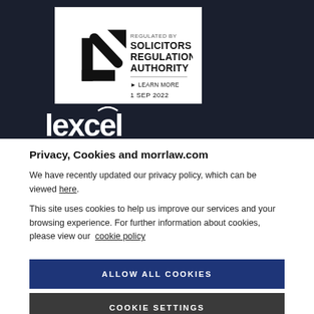[Figure (logo): Solicitors Regulation Authority badge. White rectangle with SRA logo (checkmark-arrow icon) and text: REGULATED BY SOLICITORS REGULATION AUTHORITY. LEARN MORE. 1 SEP 2022.]
[Figure (logo): Lexcel logo in white text on dark navy background]
Privacy, Cookies and morrlaw.com
We have recently updated our privacy policy, which can be viewed here.
This site uses cookies to help us improve our services and your browsing experience. For further information about cookies, please view our cookie policy
ALLOW ALL COOKIES
COOKIE SETTINGS